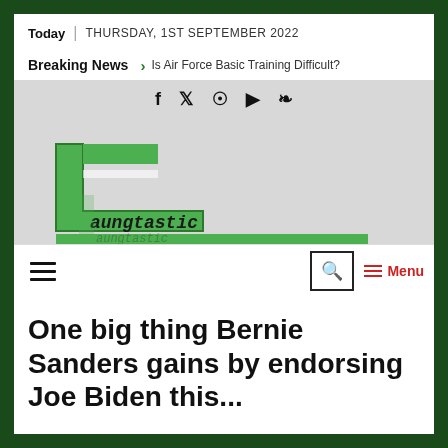Today | THURSDAY, 1ST SEPTEMBER 2022
Breaking News > Is Air Force Basic Training Difficult?
[Figure (logo): Laungtastic website logo with green stylized L letter and cursive text]
Menu
One big thing Bernie Sanders gains by endorsing Joe Biden this...